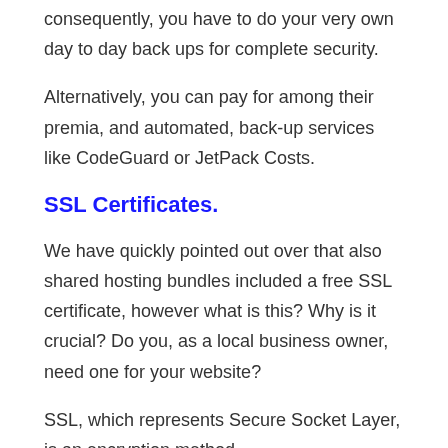consequently, you have to do your very own day to day back ups for complete security.
Alternatively, you can pay for among their premia, and automated, back-up services like CodeGuard or JetPack Costs.
SSL Certificates.
We have quickly pointed out over that also shared hosting bundles included a free SSL certificate, however what is this? Why is it crucial? Do you, as a local business owner, need one for your website?
SSL, which represents Secure Socket Layer, is an encryption method.
You can consider SSL as the series of guidelines your server and a user's web browser have to follow when sending out and obtaining information to ensure that the information being moved is not